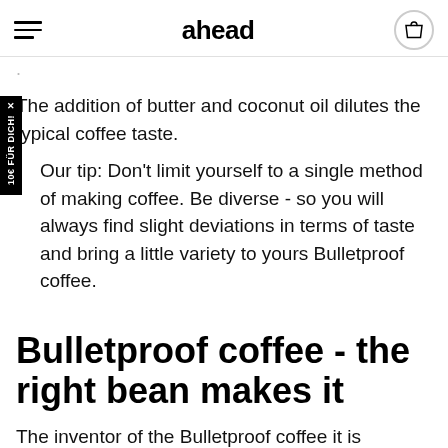ahead
The addition of butter and coconut oil dilutes the typical coffee taste.
Our tip: Don't limit yourself to a single method of making coffee. Be diverse - so you will always find slight deviations in terms of taste and bring a little variety to yours Bulletproof coffee.
Bulletproof coffee - the right bean makes it
The inventor of the Bulletproof coffee it is